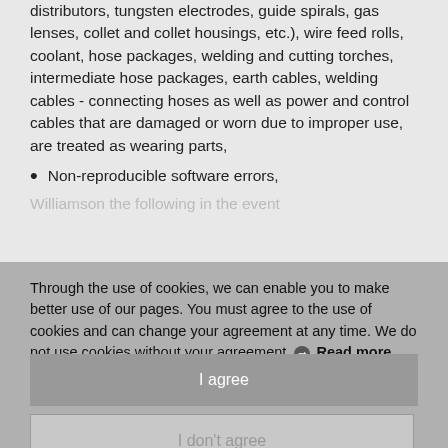distributors, tungsten electrodes, guide spirals, gas lenses, collet and collet housings, etc.), wire feed rolls, coolant, hose packages, welding and cutting torches, intermediate hose packages, earth cables, welding cables - connecting hoses as well as power and control cables that are damaged or worn due to improper use, are treated as wearing parts,
Non-reproducible software errors,
Through the use of cookies, we can enable you to make better use of our pages. You must agree to the use of cookies and can change your agreement at any time. We do not use cookies without your agreement. ❯ Read more
I agree
I don't agree